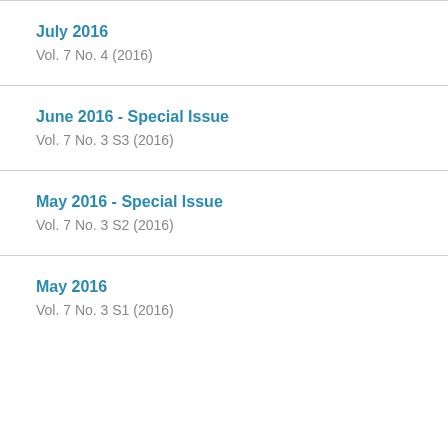July 2016
Vol. 7 No. 4 (2016)
June 2016 - Special Issue
Vol. 7 No. 3 S3 (2016)
May 2016 - Special Issue
Vol. 7 No. 3 S2 (2016)
May 2016
Vol. 7 No. 3 S1 (2016)